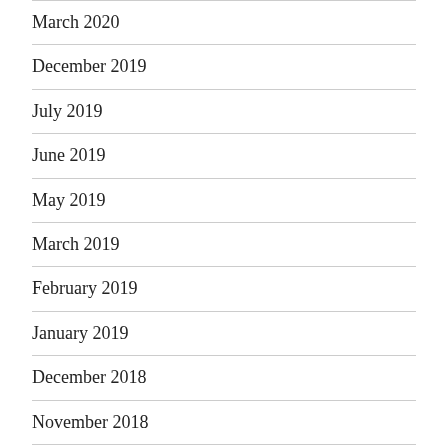March 2020
December 2019
July 2019
June 2019
May 2019
March 2019
February 2019
January 2019
December 2018
November 2018
August 2018